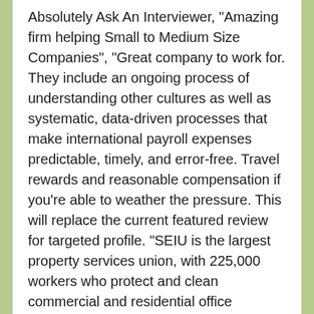Absolutely Ask An Interviewer, "Amazing firm helping Small to Medium Size Companies", "Great company to work for. They include an ongoing process of understanding other cultures as well as systematic, data-driven processes that make international payroll expenses predictable, timely, and error-free. Travel rewards and reasonable compensation if you're able to weather the pressure. This will replace the current featured review for targeted profile. "SEIU is the largest property services union, with 225,000 workers who protect and clean commercial and residential office buildings, and is the largest security union, with 50,000 private security officers and public safety personnel."
Travel rewards and status. [1] It is a member of the Business Ethics Network and Health Care for